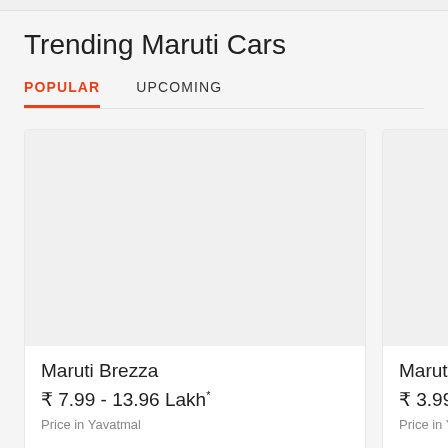Trending Maruti Cars
POPULAR  UPCOMING
[Figure (screenshot): Card showing Maruti Brezza with price ₹ 7.99 - 13.96 Lakh* and location Price in Yavatmal]
[Figure (screenshot): Card showing Maruti Alto K10 with price ₹ 3.99 - 5.83 L and location Price in Yavatmal]